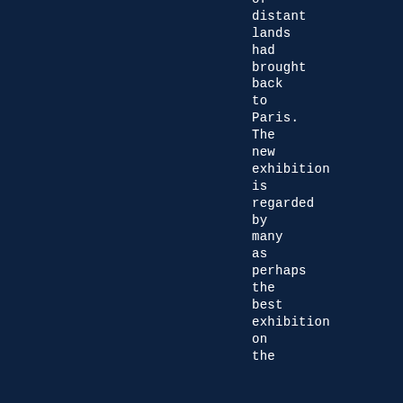of distant lands had brought back to Paris. The new exhibition is regarded by many as perhaps the best exhibition on the